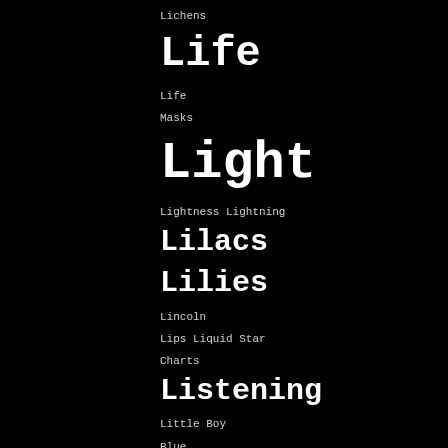Lichens Life Life Masks Light Lightness Lightning Lilacs Lilies Lincoln Lips Liquid Star Charts Listening Little Boy Blue Little Children Little Things Living Dramatists Lo-ho Loaves and Fishes Lobelia Loneliness Lone Pine Longfellow Long Hair Longing Long Island Lord Byron Los Angeles Lo Scrittore Loss Lost and Found Lost Illusions Love Love Letters Low-Fat Milk Lucian Lullabies Lumpy Pudding Lunacy and Wisdom Luxury Lynchings Lyrics Madame